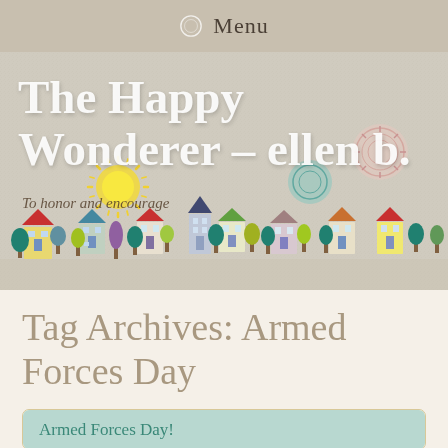Menu
[Figure (illustration): Blog header banner for 'The Happy Wondererer - ellen b.' with subtitle 'To honor and encourage', featuring a whimsical illustrated village with colorful houses, trees, and decorative elements on a light beige textured background with a sun illustration.]
Tag Archives: Armed Forces Day
Armed Forces Day!